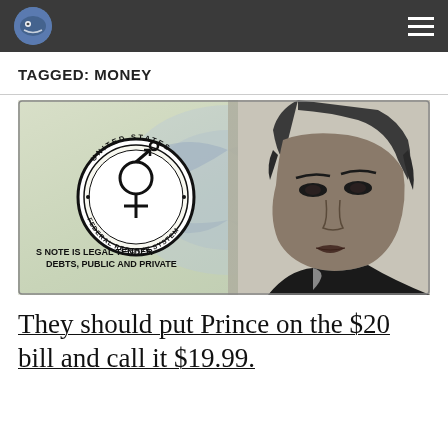Navigation bar with logo and hamburger menu
TAGGED: MONEY
[Figure (photo): A parody US dollar bill featuring Prince's portrait on the right side and a circular Federal Reserve seal with Prince's symbol on the left, along with text 'S NOTE IS LEGAL TENDER DEBTS, PUBLIC AND PRIVATE']
They should put Prince on the $20 bill and call it $19.99.